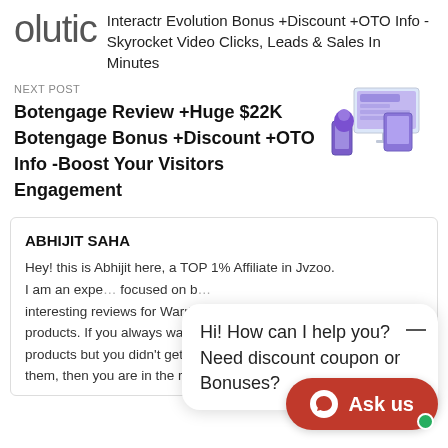olutic
Interactr Evolution Bonus +Discount +OTO Info -Skyrocket Video Clicks, Leads & Sales In Minutes
NEXT POST
Botengage Review +Huge $22K Botengage Bonus +Discount +OTO Info -Boost Your Visitors Engagement
[Figure (screenshot): Purple and white product screenshot showing monitors and devices for Botengage]
ABHIJIT SAHA
Hey! this is Abhijit here, a TOP 1% Affiliate in Jvzoo. I am an expe... focused on b... interesting reviews for Warrior+, Jvzoo and Clickbank products. If you always wanted to purcha... products but you didn't get to find an honest review for them, then you are in the right place. I put a lot of hard
Hi! How can I help you? Need discount coupon or Bonuses?